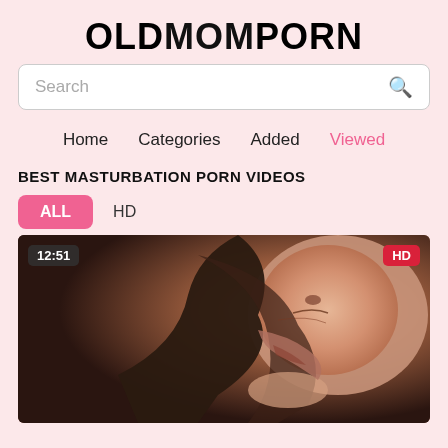OLDMOMPORN
Search
Home   Categories   Added   Viewed
BEST MASTURBATION PORN VIDEOS
ALL   HD
[Figure (screenshot): Video thumbnail showing a person with dark hair leaning down, timestamp 12:51 shown in top-left, HD badge in top-right]